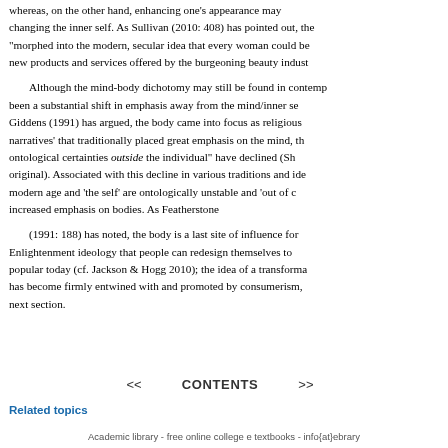whereas, on the other hand, enhancing one's appearance may changing the inner self. As Sullivan (2010: 408) has pointed out, the "morphed into the modern, secular idea that every woman could be new products and services offered by the burgeoning beauty indust...
Although the mind-body dichotomy may still be found in contemp... been a substantial shift in emphasis away from the mind/inner se... Giddens (1991) has argued, the body came into focus as religious narratives' that traditionally placed great emphasis on the mind, th... ontological certainties outside the individual" have declined (Sh... original). Associated with this decline in various traditions and ide... modern age and 'the self' are ontologically unstable and 'out of c... increased emphasis on bodies. As Featherstone
(1991: 188) has noted, the body is a last site of influence for... Enlightenment ideology that people can redesign themselves to... popular today (cf. Jackson & Hogg 2010); the idea of a transforma... has become firmly entwined with and promoted by consumerism,... next section.
<< CONTENTS >>
Related topics
Academic library - free online college e textbooks - info{at}ebrary